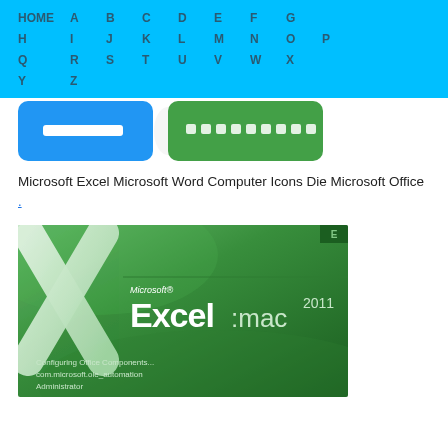HOME A B C D E F G H I J K L M N O P Q R S T U V W X Y Z
[Figure (screenshot): Partial view of Microsoft Excel and Microsoft Word app icons side by side - blue Excel icon with white bar, green Word icon with dotted pattern]
Microsoft Excel Microsoft Word Computer Icons Die Microsoft Office .
[Figure (screenshot): Microsoft Excel for Mac 2011 splash screen with green background, large X logo, and text 'Configuring Office Components... com.microsoft.ole_automation Administrator']